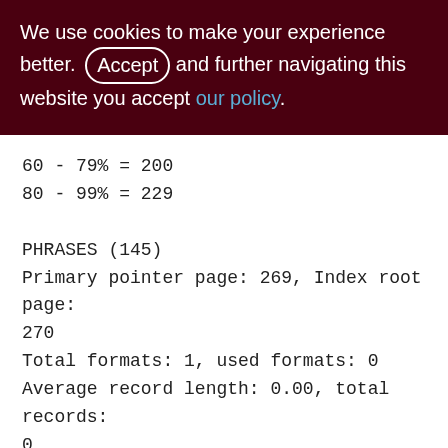We use cookies to make your experience better. By Accepting and further navigating this website you accept our policy.
60 - 79% = 200
80 - 99% = 229

PHRASES (145)
Primary pointer page: 269, Index root page: 270
Total formats: 1, used formats: 0
Average record length: 0.00, total records: 0
Average version length: 0.00, total versions: 0, max versions: 0
Average fragment length: 0.00, total